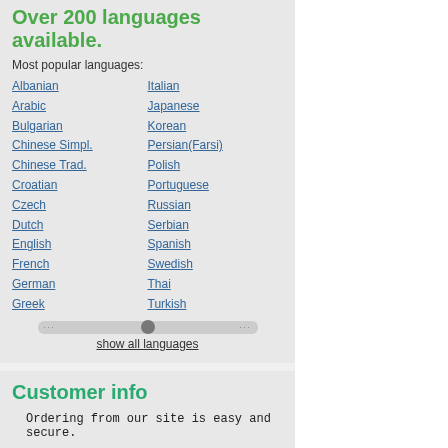Over 200 languages available.
Most popular languages:
Albanian
Arabic
Bulgarian
Chinese Simpl.
Chinese Trad.
Croatian
Czech
Dutch
English
French
German
Greek
Italian
Japanese
Korean
Persian(Farsi)
Polish
Portuguese
Russian
Serbian
Spanish
Swedish
Thai
Turkish
show all languages
Customer info
Ordering from our site is easy and secure.
[Figure (logo): SSL Thawte secured site badge]
If you are unable to access the page with the order form, please install SSL support on your browser.
[Figure (other): Credit card logos: Discover, American Express, MasterCard, Visa]
We accept all major Credit Cards (Visa, MC, AmEx, Discover).
[Figure (photo): Hand holding a portable scanner device]
Silver
[Figure (infographic): Best Seller badge and Free Shipping badge. Summer promotion with gift icon. Buy now with a $1... and get the Accesso... value) as a...]